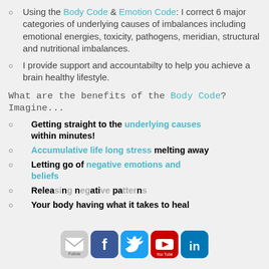Using the Body Code & Emotion Code:  I correct 6 major categories of underlying causes of imbalances including emotional energies, toxicity, pathogens, meridian, structural and nutritional imbalances.
I provide support and accountabilty to help you achieve a brain healthy lifestyle.
What are the benefits of the Body Code?   Imagine...
Getting straight to the underlying causes within minutes!
Accumulative life long stress melting away
Letting go of negative emotions and beliefs
Releasing negative patterns
Your body having what it takes to heal